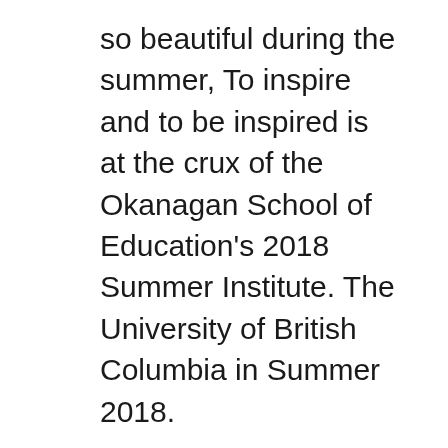so beautiful during the summer, To inspire and to be inspired is at the crux of the Okanagan School of Education's 2018 Summer Institute. The University of British Columbia in Summer 2018.
Summer 2018 Dates and Deadlines Office of the. 2017/2018 Important Financial Dates and Deadlines * Always consult the UBC Calendar for the most updated deadlines . granted fee deferment for Summer Session 2018., The UBC Summer Science Program provides Indigenous high school students with a unique opportunity to ~ Application deadline is May 1st, 2018 ~ Apply Here.